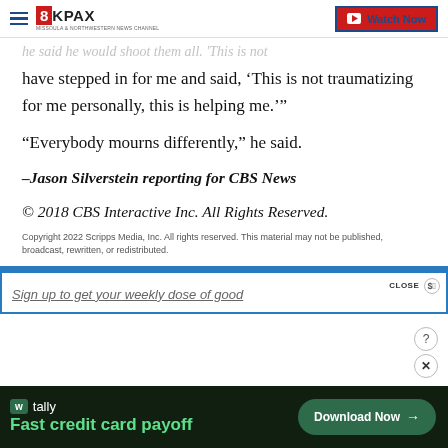8KPAX | Watch Now
he said he would shoot them all. 'This is not have stepped in for me and said, ‘This is not traumatizing for me personally, this is helping me.’”
“Everybody mourns differently,” he said.
–Jason Silverstein reporting for CBS News
© 2018 CBS Interactive Inc. All Rights Reserved.
Copyright 2022 Scripps Media, Inc. All rights reserved. This material may not be published, broadcast, rewritten, or redistributed.
Sign up to get your weekly dose of good
Fast credit card payoff | Download Now